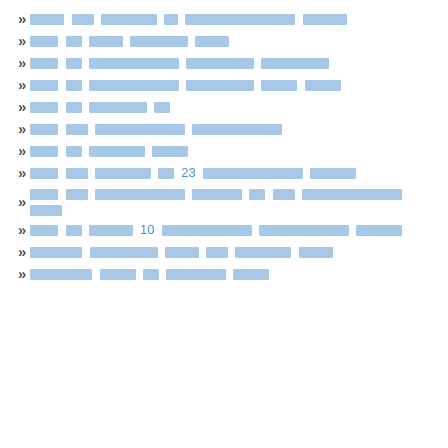█████ ████ █████████ ██ ████████████████ ██████
████ ██ ████ █████████ █████
████ ██ ████████████ █████████ █████████
████ ██ ████████████ █████████ █████ █████
████ ██ █████████ ██
████ ███ ████████████ ████████████
████ ██ ████████ █████
████ ███ ████████ ██ 23 ████████████████ ██████
████ ███ ████████████ ██████ ██ ████ ████████████████ █████
████ ██ ██████ 10 ████████████ ████████████ ██████
███████ ████████ █████ ███ ████████ █████
████████ █████ ██ ████████ █████